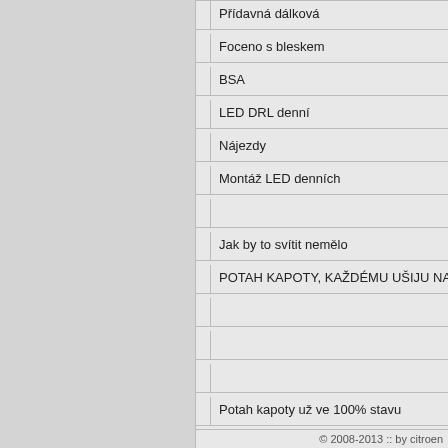Přídavná dálková
Foceno s bleskem
BSA
LED DRL denní
Nájezdy
Montáž LED denních
Jak by to svítit nemělo
POTAH KAPOTY, KAŽDÉMU UŠIJU NA PŘÁNÍ
Potah kapoty už ve 100% stavu
© 2008-2013 :: by citroen